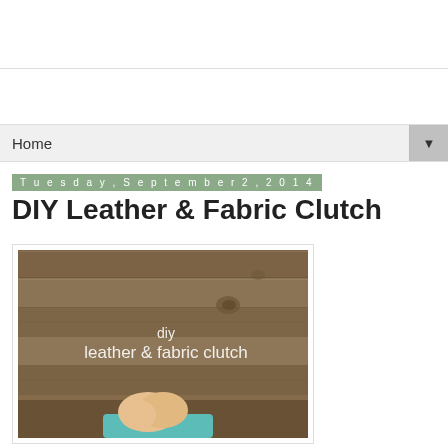Home
Tuesday, September 2, 2014
DIY Leather & Fabric Clutch
[Figure (photo): DIY leather and fabric clutch tutorial cover image showing a wooden plank background with white text overlay reading 'diy leather & fabric clutch' and a hand holding a teal clutch at the bottom]